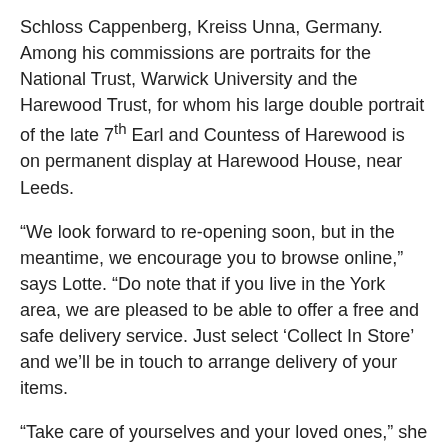Schloss Cappenberg, Kreiss Unna, Germany. Among his commissions are portraits for the National Trust, Warwick University and the Harewood Trust, for whom his large double portrait of the late 7th Earl and Countess of Harewood is on permanent display at Harewood House, near Leeds.
“We look forward to re-opening soon, but in the meantime, we encourage you to browse online,” says Lotte. “Do note that if you live in the York area, we are pleased to be able to offer a free and safe delivery service. Just select ‘Collect In Store’ and we’ll be in touch to arrange delivery of your items.
“Take care of yourselves and your loved ones,” she signs off.
[Figure (other): Social share buttons: Facebook (0), Tweet (0), LinkedIn (0)]